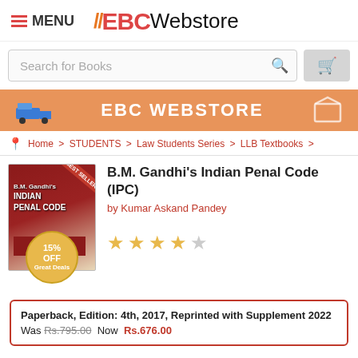≡ MENU  EBC Webstore
[Figure (screenshot): Search bar with 'Search for Books' placeholder and shopping cart icon]
[Figure (screenshot): EBC WEBSTORE orange banner with truck and box icons]
Home > STUDENTS > Law Students Series > LLB Textbooks >
[Figure (photo): Book cover of B.M. Gandhi's Indian Penal Code with BEST SELLER ribbon and 15% OFF badge]
B.M. Gandhi's Indian Penal Code (IPC)
by Kumar Askand Pandey
[Figure (other): 4 out of 5 stars rating]
Paperback, Edition: 4th, 2017, Reprinted with Supplement 2022
Was Rs.795.00  Now  Rs.676.00